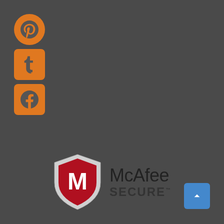[Figure (logo): Pinterest social media icon - orange circle with P]
[Figure (logo): Tumblr social media icon - orange square with t]
[Figure (logo): Facebook social media icon - orange square with f]
[Figure (logo): McAfee SECURE logo with shield icon]
Graphic Dune
Blog
About Us
FAQs